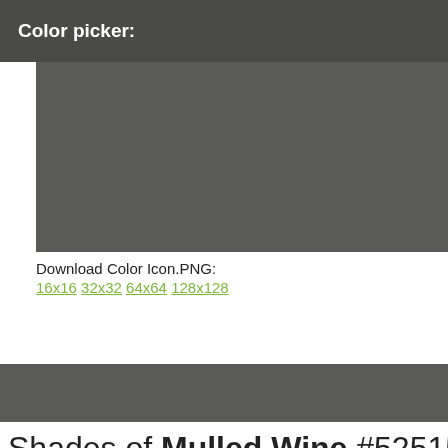Color picker:
[Figure (other): Large color preview rectangle showing the Mulled Wine color #525153, rendered as a dark grayish-purple swatch]
Download Color Icon.PNG:
16x16 32x32 64x64 128x128
[Figure (other): Navigation bar or secondary color preview strip in dark gray]
Shades of Mulled Wine #525153
| #525153 | #424142 | #353435 | #2A2A2A | #222222 |
| --- | --- | --- | --- | --- |